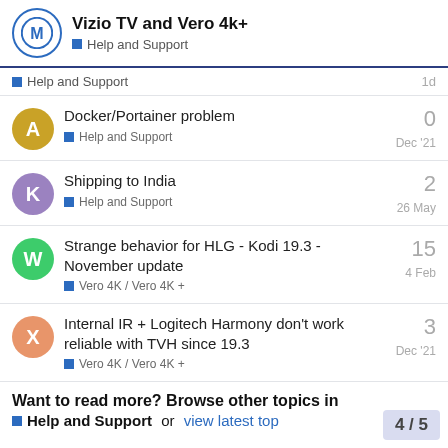Vizio TV and Vero 4k+ — Help and Support
Help and Support — 1d
Docker/Portainer problem — Help and Support — 0 — Dec '21
Shipping to India — Help and Support — 2 — 26 May
Strange behavior for HLG - Kodi 19.3 - November update — Vero 4K / Vero 4K + — 15 — 4 Feb
Internal IR + Logitech Harmony don't work reliable with TVH since 19.3 — Vero 4K / Vero 4K + — 3 — Dec '21
Want to read more? Browse other topics in Help and Support or view latest top
4 / 5